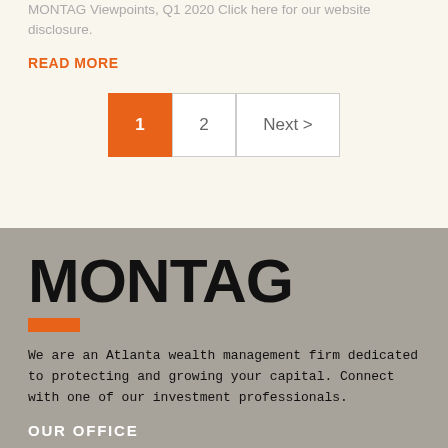MONTAG Viewpoints, Q1 2020 Click here for our website disclosure.
READ MORE
1  2  Next >
MONTAG
We are an Atlanta wealth management firm dedicated to protecting and growing your capital. Connect with one of our investment professionals.
OUR OFFICE